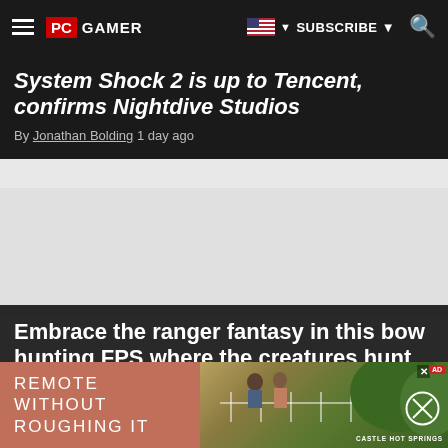PC GAMER | SUBSCRIBE | Search
System Shock 2 is up to Tencent, confirms Nightdive Studios
By Jonathan Bolding 1 day ago
[Figure (screenshot): Grey advertisement space area]
Embrace the ranger fantasy in this bow hunting FPS where the creatures hunt you back
By Ted Litchfield 1 day ago
[Figure (photo): Advertisement banner: REMOTE WITHOUT ROUGHING IT - Castle Hot Springs - showing people on a deck/balcony with lush greenery]